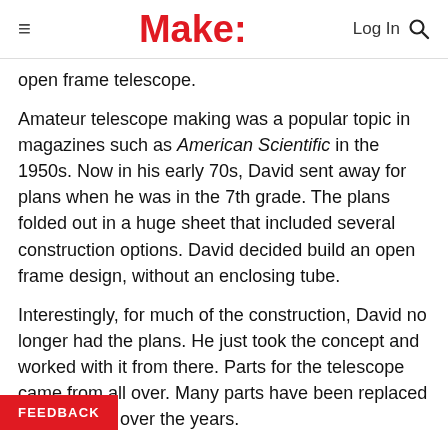Make:
open frame telescope.
Amateur telescope making was a popular topic in magazines such as American Scientific in the 1950s. Now in his early 70s, David sent away for plans when he was in the 7th grade. The plans folded out in a huge sheet that included several construction options. David decided build an open frame design, without an enclosing tube.
Interestingly, for much of the construction, David no longer had the plans. He just took the concept and worked with it from there. Parts for the telescope came from all over. Many parts have been replaced or upgraded over the years.